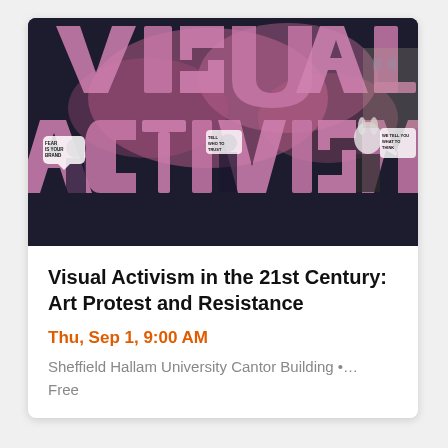[Figure (illustration): Dark background with large bold pink/magenta letters spelling 'VISUAL ACTIVISM' with protest imagery visible through the letterforms — protesters holding signs reading 'FEAR IS YOUR BRAND', 'TELL WHO TO TRUST', and 'WE TELL YOU WHAT TO THINK', with pink smoke in the background.]
Visual Activism in the 21st Century: Art Protest and Resistance
Thu, Sep 1, 9:00 AM
Sheffield Hallam University Cantor Building •…
Free